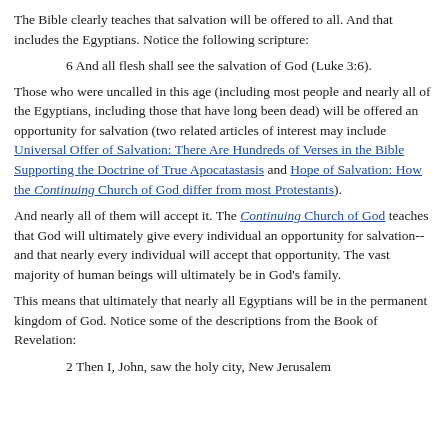The Bible clearly teaches that salvation will be offered to all. And that includes the Egyptians. Notice the following scripture:
6 And all flesh shall see the salvation of God (Luke 3:6).
Those who were uncalled in this age (including most people and nearly all of the Egyptians, including those that have long been dead) will be offered an opportunity for salvation (two related articles of interest may include Universal Offer of Salvation: There Are Hundreds of Verses in the Bible Supporting the Doctrine of True Apocatastasis and Hope of Salvation: How the Continuing Church of God differ from most Protestants).
And nearly all of them will accept it. The Continuing Church of God teaches that God will ultimately give every individual an opportunity for salvation--and that nearly every individual will accept that opportunity. The vast majority of human beings will ultimately be in God's family.
This means that ultimately that nearly all Egyptians will be in the permanent kingdom of God. Notice some of the descriptions from the Book of Revelation:
2 Then I, John, saw the holy city, New Jerusalem